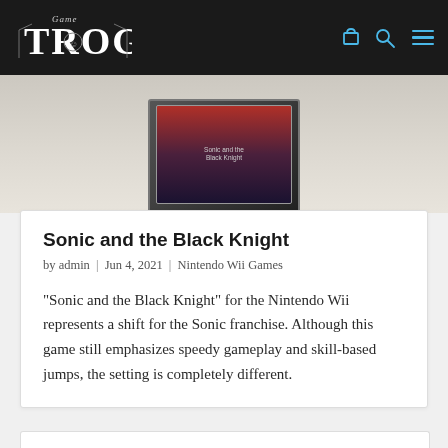Game Trog — navigation header with logo, cart, search, and menu icons
[Figure (photo): Partial view of a Nintendo Wii game box (Sonic and the Black Knight) on a light surface]
Sonic and the Black Knight
by admin | Jun 4, 2021 | Nintendo Wii Games
“Sonic and the Black Knight” for the Nintendo Wii represents a shift for the Sonic franchise. Although this game still emphasizes speedy gameplay and skill-based jumps, the setting is completely different.